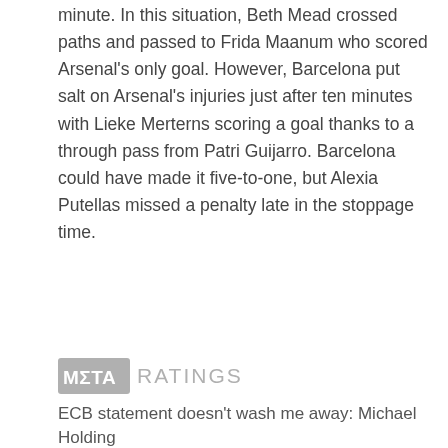minute. In this situation, Beth Mead crossed paths and passed to Frida Maanum who scored Arsenal’s only goal. However, Barcelona put salt on Arsenal’s injuries just after ten minutes with Lieke Merterns scoring a goal thanks to a through pass from Patri Guijarro. Barcelona could have made it five-to-one, but Alexia Putellas missed a penalty late in the stoppage time.
[Figure (logo): META RATINGS logo — grey box with white text MΣTA followed by grey text RATINGS]
ECB statement doesn’t wash me away: Michael Holding
[Figure (logo): META RATINGS logo — grey box with white text MΣTA followed by grey text RATINGS]
The Men’s Ashes will go as planned
[Figure (logo): META RATINGS logo — grey box with white text MΣTA followed by grey text RATINGS]
I was ashamed and scared: Raven Saunders